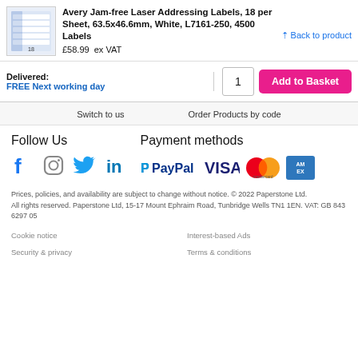Avery Jam-free Laser Addressing Labels, 18 per Sheet, 63.5x46.6mm, White, L7161-250, 4500 Labels
£58.99  ex VAT
^ Back to product
Delivered:
FREE Next working day
1  Add to Basket
Switch to us
Order Products by code
Follow Us
Payment methods
[Figure (logo): Social media icons: Facebook, Instagram, Twitter, LinkedIn]
[Figure (logo): Payment icons: PayPal, VISA, Mastercard, American Express]
Prices, policies, and availability are subject to change without notice. © 2022 Paperstone Ltd.
All rights reserved. Paperstone Ltd, 15-17 Mount Ephraim Road, Tunbridge Wells TN1 1EN. VAT: GB 843 6297 05
Cookie notice
Interest-based Ads
Security & privacy
Terms & conditions